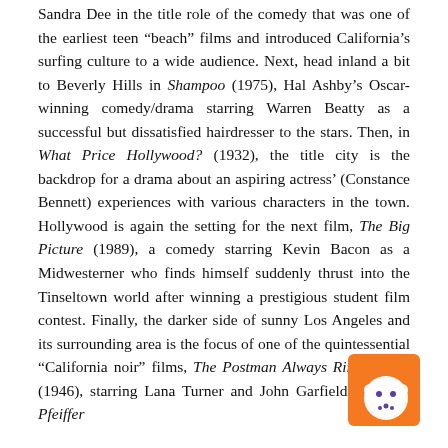Sandra Dee in the title role of the comedy that was one of the earliest teen “beach” films and introduced California’s surfing culture to a wide audience. Next, head inland a bit to Beverly Hills in Shampoo (1975), Hal Ashby’s Oscar-winning comedy/drama starring Warren Beatty as a successful but dissatisfied hairdresser to the stars. Then, in What Price Hollywood? (1932), the title city is the backdrop for a drama about an aspiring actress’ (Constance Bennett) experiences with various characters in the town. Hollywood is again the setting for the next film, The Big Picture (1989), a comedy starring Kevin Bacon as a Midwesterner who finds himself suddenly thrust into the Tinseltown world after winning a prestigious student film contest. Finally, the darker side of sunny Los Angeles and its surrounding area is the focus of one of the quintessential “California noir” films, The Postman Always Rings Twice (1946), starring Lana Turner and John Garfield. — Jeff Pfeiffer
United States of Al: “Car/Motar”
CBS, 8:30pm
In the new episode “Car/Motar,” when Riley (Parker Young) and